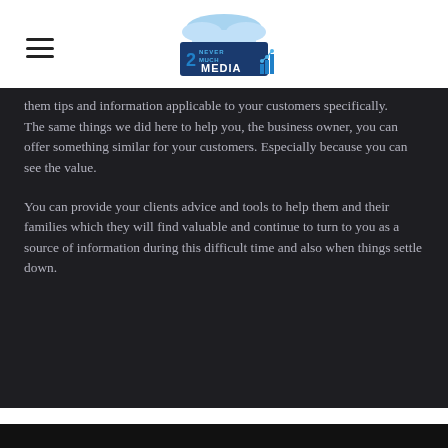[Figure (logo): Never 2 Much Media logo with stylized '2' and bar chart icon, with cloud graphic above]
them tips and information applicable to your customers specifically.
The same things we did here to help you, the business owner, you can offer something similar for your customers. Especially because you can see the value.

You can provide your clients advice and tools to help them and their families which they will find valuable and continue to turn to you as a source of information during this difficult time and also when things settle down.